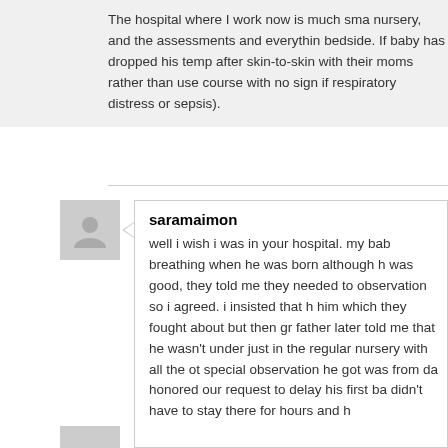The hospital where I work now is much sma nursery, and the assessments and everythin bedside. If baby has dropped his temp after skin-to-skin with their moms rather than use course with no sign if respiratory distress or sepsis).
saramaimon
well i wish i was in your hospital. my bab breathing when he was born although h was good, they told me they needed to observation so i agreed. i insisted that h him which they fought about but then gr father later told me that he wasn't under just in the regular nursery with all the ot special observation he got was from da honored our request to delay his first ba didn't have to stay there for hours and h